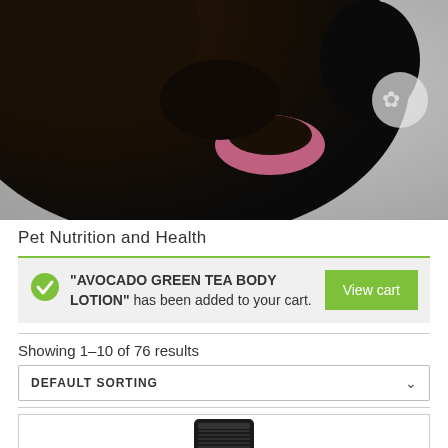[Figure (photo): Close-up photo of a dark-furred animal (likely a dog or bear) against a light background, cropped at top of page.]
Pet Nutrition and Health
"AVOCADO GREEN TEA BODY LOTION" has been added to your cart.
Showing 1-10 of 76 results
DEFAULT SORTING
[Figure (photo): Partial product image showing the top/cap of a dark cylindrical container.]